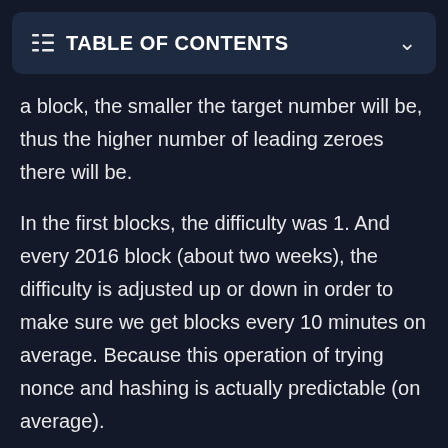TABLE OF CONTENTS
a block, the smaller the target number will be, thus the higher number of leading zeroes there will be.
In the first blocks, the difficulty was 1. And every 2016 block (about two weeks), the difficulty is adjusted up or down in order to make sure we get blocks every 10 minutes on average. Because this operation of trying nonce and hashing is actually predictable (on average).
Network splits